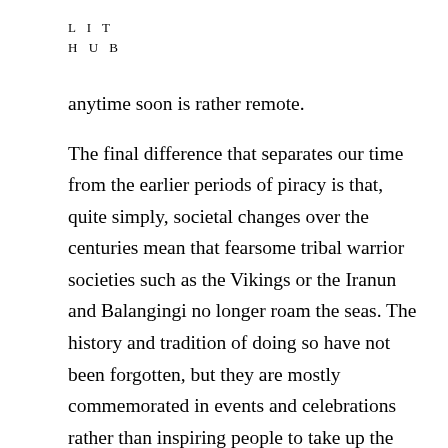L I T
H U B
anytime soon is rather remote.
The final difference that separates our time from the earlier periods of piracy is that, quite simply, societal changes over the centuries mean that fearsome tribal warrior societies such as the Vikings or the Iranun and Balangingi no longer roam the seas. The history and tradition of doing so have not been forgotten, but they are mostly commemorated in events and celebrations rather than inspiring people to take up the profession. In such events as the Jorvik Viking Festival in York or the Shetland town of